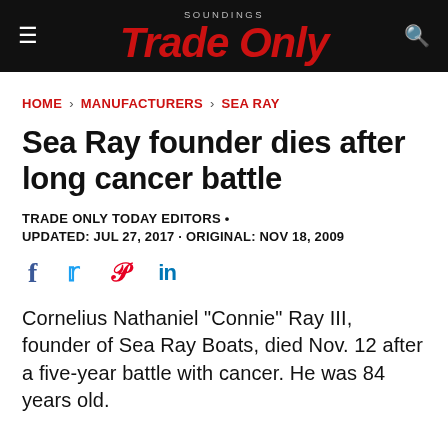SOUNDINGS Trade Only
HOME › MANUFACTURERS › SEA RAY
Sea Ray founder dies after long cancer battle
TRADE ONLY TODAY EDITORS •
UPDATED: JUL 27, 2017 · ORIGINAL: NOV 18, 2009
[Figure (other): Social media share icons: Facebook, Twitter, Pinterest, LinkedIn]
Cornelius Nathaniel "Connie" Ray III, founder of Sea Ray Boats, died Nov. 12 after a five-year battle with cancer. He was 84 years old.